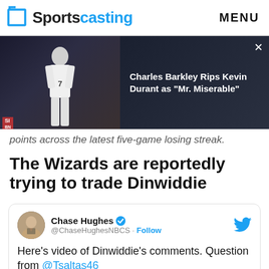Sportscasting | MENU
[Figure (photo): Ad overlay showing basketball player (Kevin Durant #7) with text: Charles Barkley Rips Kevin Durant as "Mr. Miserable"]
points across the latest five-game losing streak.
The Wizards are reportedly trying to trade Dinwiddie
[Figure (screenshot): Embedded tweet from Chase Hughes (@ChaseHughesNBCS) with follow button. Tweet text: Here's video of Dinwiddie's comments. Question from @Tsaltas46. Includes MedStar Health sponsor banner at bottom.]